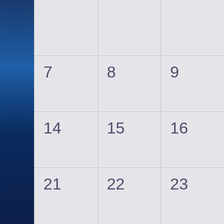[Figure (other): Partial calendar grid showing dates 7, 8, 9 (row 1), 14, 15, 16 (row 2), 21, 22, 23 (row 3), with a blue gradient sidebar on the left and a top empty row. Background is light gray with grid lines.]